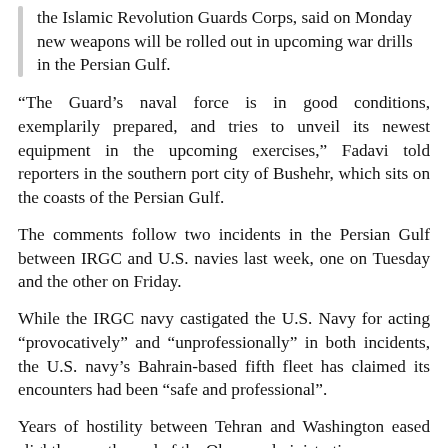the Islamic Revolution Guards Corps, said on Monday new weapons will be rolled out in upcoming war drills in the Persian Gulf.
“The Guard’s naval force is in good conditions, exemplarily prepared, and tries to unveil its newest equipment in the upcoming exercises,” Fadavi told reporters in the southern port city of Bushehr, which sits on the coasts of the Persian Gulf.
The comments follow two incidents in the Persian Gulf between IRGC and U.S. navies last week, one on Tuesday and the other on Friday.
While the IRGC navy castigated the U.S. Navy for acting “provocatively” and “unprofessionally” in both incidents, the U.S. navy’s Bahrain-based fifth fleet has claimed its encounters had been “safe and professional”.
Years of hostility between Tehran and Washington eased slightly near the end of the Obama administration, as